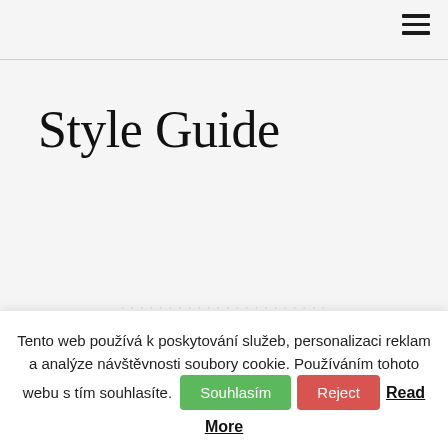Style Guide
Tento web používá k poskytování služeb, personalizaci reklam a analýze návštěvnosti soubory cookie. Používáním tohoto webu s tím souhlasíte.
Souhlasím | Reject | Read More